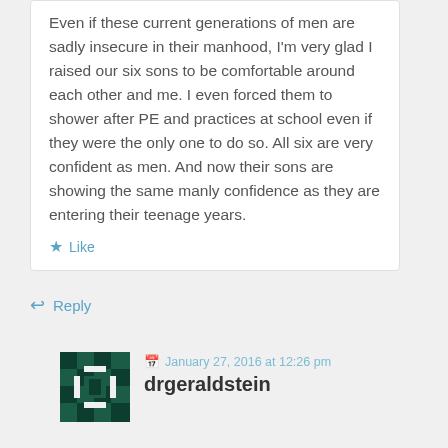Even if these current generations of men are sadly insecure in their manhood, I'm very glad I raised our six sons to be comfortable around each other and me. I even forced them to shower after PE and practices at school even if they were the only one to do so. All six are very confident as men. And now their sons are showing the same manly confidence as they are entering their teenage years.
★ Like
↩ Reply
January 27, 2016 at 12:26 pm
drgeraldstein